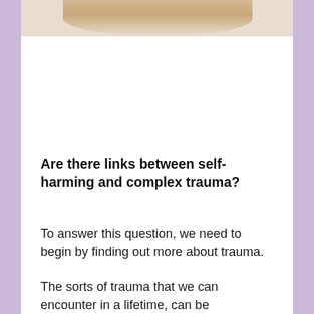[Figure (photo): Partial photo of a blonde person, cropped at the top of the page, showing top of head and hair only.]
Are there links between self-harming and complex trauma?
To answer this question, we need to begin by finding out more about trauma.
The sorts of trauma that we can encounter in a lifetime, can be categorized into two main